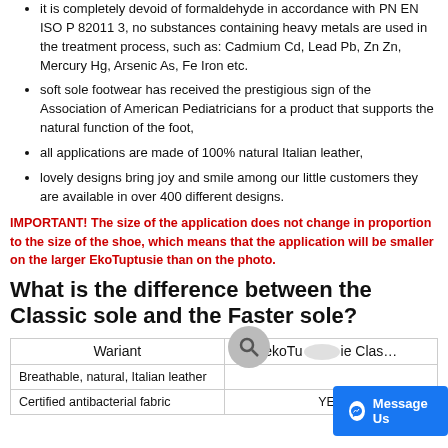it is completely devoid of formaldehyde in accordance with PN EN ISO P 82011 3, no substances containing heavy metals are used in the treatment process, such as: Cadmium Cd, Lead Pb, Zn Zn, Mercury Hg, Arsenic As, Fe Iron etc.
soft sole footwear has received the prestigious sign of the Association of American Pediatricians for a product that supports the natural function of the foot,
all applications are made of 100% natural Italian leather,
lovely designs bring joy and smile among our little customers they are available in over 400 different designs.
IMPORTANT! The size of the application does not change in proportion to the size of the shoe, which means that the application will be smaller on the larger EkoTuptusie than on the photo.
What is the difference between the Classic sole and the Faster sole?
| Wariant | ekoTuptusie Clas… |
| --- | --- |
| Breathable, natural, Italian leather |  |
| Certified antibacterial fabric | YES |